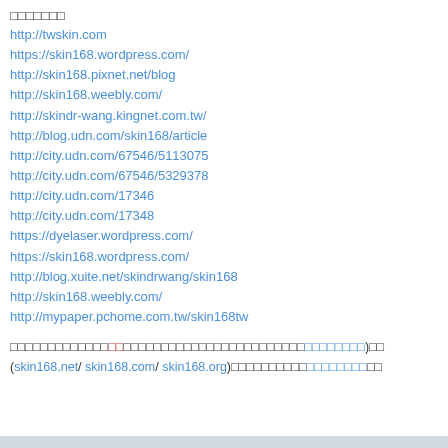□□□□□□□
http://twskin.com
https://skin168.wordpress.com/
http://skin168.pixnet.net/blog
http://skin168.weebly.com/
http://skindr-wang.kingnet.com.tw/
http://blog.udn.com/skin168/article
http://city.udn.com/67546/5113075
http://city.udn.com/67546/5329378
http://city.udn.com/17346
http://city.udn.com/17348
https://dyelaser.wordpress.com/
https://skin168.wordpress.com/
http://blog.xuite.net/skindrwang/skin168
http://skin168.weebly.com/
http://mypaper.pchome.com.tw/skin168tw
□□□□□□□□□□□□□□□□□□□□□□□□□□□□□□□□□□□□□□□□□(□□□□□□□□)□□□(skin168.net/ skin168.com/ skin168.org)□□□□□□□□□□□□□□□□□□□